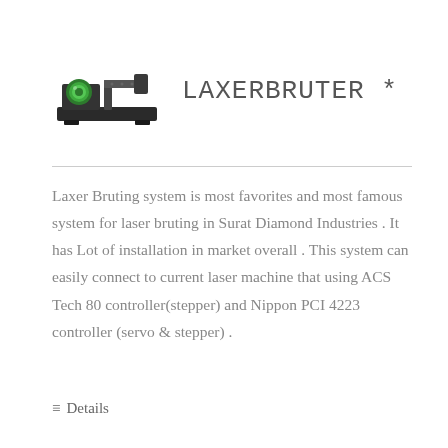[Figure (photo): Photo of a Laxer Bruter laser bruting machine — a small industrial device with a green circular lens component and black metal housing mounted on a base]
LAXERBRUTER *
Laxer Bruting system is most favorites and most famous system for laser bruting in Surat Diamond Industries . It has Lot of installation in market overall . This system can easily connect to current laser machine that using ACS Tech 80 controller(stepper) and Nippon PCI 4223 controller (servo & stepper) .
≡ Details